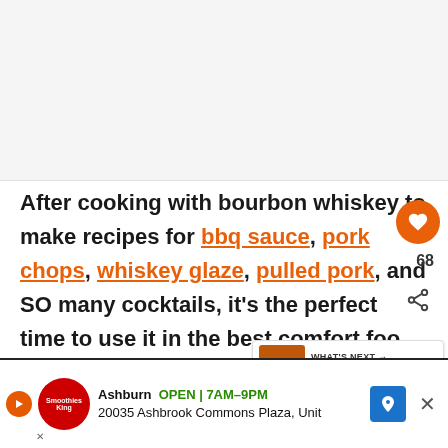[Figure (photo): Light grey placeholder image area at the top of the page]
After cooking with bourbon whiskey to make recipes for bbq sauce, pork chops, whiskey glaze, pulled pork, and SO many cocktails, it's the perfect time to use it in the best comfort food... this boozy bacon Jack Daniels mac and c...
[Figure (infographic): WHAT'S NEXT panel showing Jack Daniels Marinade thumbnail with text]
[Figure (screenshot): Advertisement bar: Smoothies King, Ashburn OPEN 7AM-9PM, 20035 Ashbrook Commons Plaza, Unit]